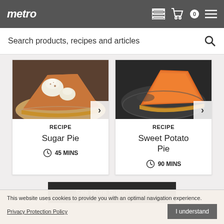metro
Search products, recipes and articles
[Figure (photo): Slice of sugar pie with whipped cream on a plate]
RECIPE
Sugar Pie
45 MINS
[Figure (photo): Slice of sweet potato pie on a dark plate]
RECIPE
Sweet Potato Pie
90 MINS
See More Suggestions
This website uses cookies to provide you with an optimal navigation experience.
Privacy Protection Policy
I understand